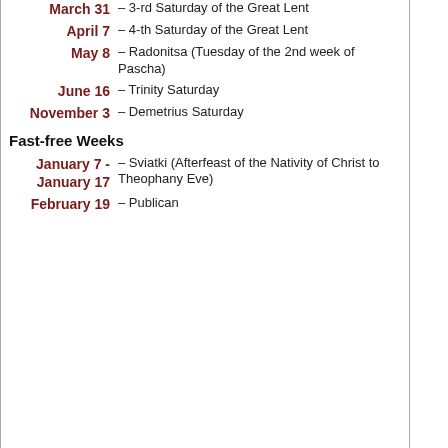| Date | Description |
| --- | --- |
| March 31 | – 3-rd Saturday of the Great Lent |
| April 7 | – 4-th Saturday of the Great Lent |
| May 8 | – Radonitsa (Tuesday of the 2nd week of Pascha) |
| June 16 | – Trinity Saturday |
| November 3 | – Demetrius Saturday |
Fast-free Weeks
| Date | Description |
| --- | --- |
| January 7 - January 17 | – Sviatki (Afterfeast of the Nativity of Christ to Theophany Eve) |
| February 19 | – Publican |